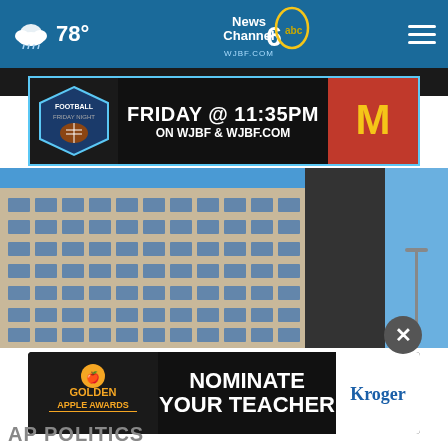78° News Channel 6 abc WJBF.COM
[Figure (screenshot): TV station advertisement banner: Football Friday Night - FRIDAY @ 11:35PM ON WJBF & WJBF.COM with McDonald's logo]
[Figure (photo): Exterior photograph of a multi-story office building against blue sky]
[Figure (screenshot): Golden Apple Awards advertisement: NOMINATE YOUR TEACHER with Kroger logo]
AP POLITICS